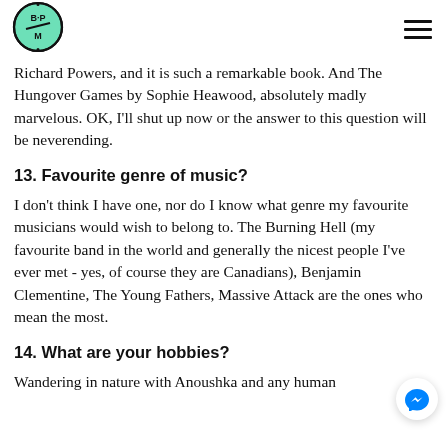[Figure (logo): BPM logo: circular badge with letters B, P, M and a slash, mint green fill with black border]
Richard Powers, and it is such a remarkable book. And The Hungover Games by Sophie Heawood, absolutely madly marvelous. OK, I'll shut up now or the answer to this question will be neverending.
13. Favourite genre of music?
I don't think I have one, nor do I know what genre my favourite musicians would wish to belong to. The Burning Hell (my favourite band in the world and generally the nicest people I've ever met - yes, of course they are Canadians), Benjamin Clementine, The Young Fathers, Massive Attack are the ones who mean the most.
14. What are your hobbies?
Wandering in nature with Anoushka and any human